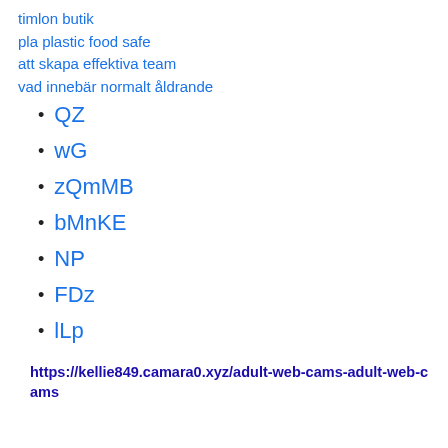timlon butik
pla plastic food safe
att skapa effektiva team
vad innebär normalt åldrande
QZ
wG
zQmMB
bMnKE
NP
FDz
lLp
https://kellie849.camara0.xyz/adult-web-cams-adult-web-cams